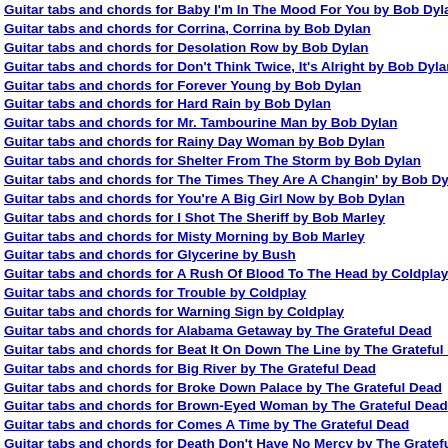Guitar tabs and chords for Baby I'm In The Mood For You by Bob Dylan
Guitar tabs and chords for Corrina, Corrina by Bob Dylan
Guitar tabs and chords for Desolation Row by Bob Dylan
Guitar tabs and chords for Don't Think Twice, It's Alright by Bob Dylan
Guitar tabs and chords for Forever Young by Bob Dylan
Guitar tabs and chords for Hard Rain by Bob Dylan
Guitar tabs and chords for Mr. Tambourine Man by Bob Dylan
Guitar tabs and chords for Rainy Day Woman by Bob Dylan
Guitar tabs and chords for Shelter From The Storm by Bob Dylan
Guitar tabs and chords for The Times They Are A Changin' by Bob Dylan
Guitar tabs and chords for You're A Big Girl Now by Bob Dylan
Guitar tabs and chords for I Shot The Sheriff by Bob Marley
Guitar tabs and chords for Misty Morning by Bob Marley
Guitar tabs and chords for Glycerine by Bush
Guitar tabs and chords for A Rush Of Blood To The Head by Coldplay
Guitar tabs and chords for Trouble by Coldplay
Guitar tabs and chords for Warning Sign by Coldplay
Guitar tabs and chords for Alabama Getaway by The Grateful Dead
Guitar tabs and chords for Beat It On Down The Line by The Grateful Dead
Guitar tabs and chords for Big River by The Grateful Dead
Guitar tabs and chords for Broke Down Palace by The Grateful Dead
Guitar tabs and chords for Brown-Eyed Woman by The Grateful Dead
Guitar tabs and chords for Comes A Time by The Grateful Dead
Guitar tabs and chords for Death Don't Have No Mercy by The Grateful Dead
Guitar tabs and chords for Jack-A-Roe by The Grateful Dead
Guitar tabs and chords for Lazy River Road by The Grateful Dead
Guitar tabs and chords for Scarlet Fire by The Grateful Dead
Guitar tabs and chords for We Can Run by The Grateful Dead
Guitar tabs and chords for Basket Case by Green Day
Guitar tabs and chords for Don't Leave Me by Green Day